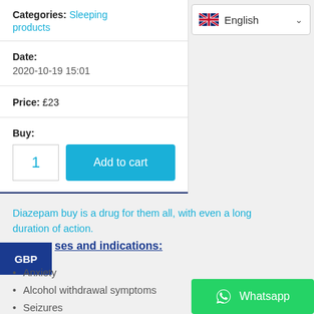Categories: Sleeping products
[Figure (screenshot): UK flag icon with 'English' dropdown language selector]
Date: 2020-10-19 15:01
Price: £23
Buy: 1 [Add to cart button]
Diazepam buy is a drug for them all, with even a long duration of action.
GBP
ses and indications:
Anxiety
Alcohol withdrawal symptoms
Seizures
Muscle spasms and stiffness
[Figure (screenshot): WhatsApp button (green) with WhatsApp icon and text 'Whatsapp']